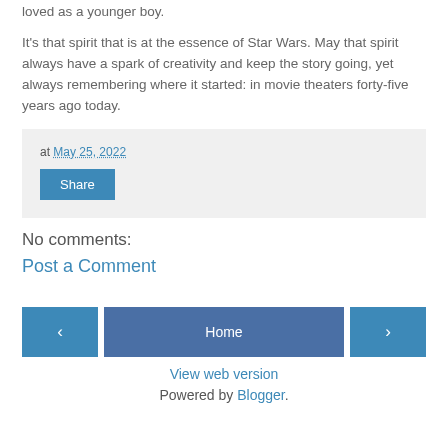loved as a younger boy.

It's that spirit that is at the essence of Star Wars. May that spirit always have a spark of creativity and keep the story going, yet always remembering where it started: in movie theaters forty-five years ago today.
at May 25, 2022
Share
No comments:
Post a Comment
‹ Home ›
View web version
Powered by Blogger.